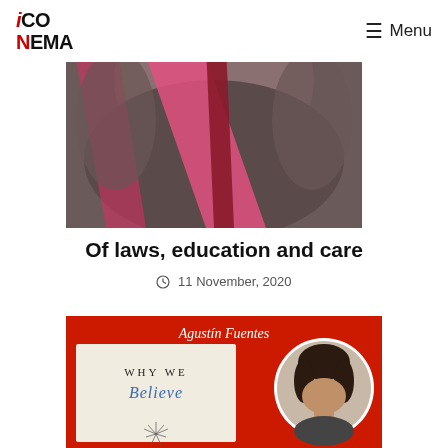ICONEMA  Menu
[Figure (photo): Close-up photo of a person's torso with pink and red athletic tape/ribbon against dark background]
Of laws, education and care
11 November, 2020
[Figure (photo): Red promotional banner for Agustin Fuentes book 'Why We Believe' with author photo portrait in a circle on the right side, script text 'Agustin Fuentes' at top, and book cover showing 'WHY WE Believe' with decorative starburst pattern at bottom]